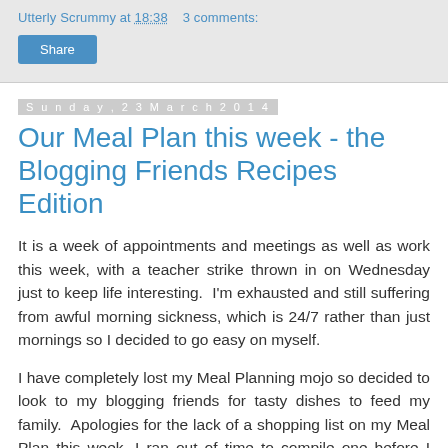Utterly Scrummy at 18:38   3 comments:
Share
Sunday, 23 March 2014
Our Meal Plan this week - the Blogging Friends Recipes Edition
It is a week of appointments and meetings as well as work this week, with a teacher strike thrown in on Wednesday just to keep life interesting.  I'm exhausted and still suffering from awful morning sickness, which is 24/7 rather than just mornings so I decided to go easy on myself.
I have completely lost my Meal Planning mojo so decided to look to my blogging friends for tasty dishes to feed my family.  Apologies for the lack of a shopping list on my Meal Plan this week, I ran out of time to compile one before I dashed off to work.
Dinners